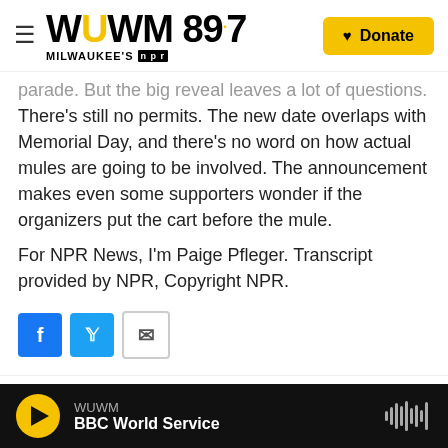WUWM 89.7 Milwaukee's NPR — Donate
parade. But the big reveal leaves a lot of questions. There's still no permits. The new date overlaps with Memorial Day, and there's no word on how actual mules are going to be involved. The announcement makes even some supporters wonder if the organizers put the cart before the mule.
For NPR News, I'm Paige Pfleger. Transcript provided by NPR, Copyright NPR.
[Figure (infographic): Social share buttons: Facebook (blue), Twitter (blue), Email (white with envelope icon)]
[Figure (photo): Partial photo of Paige Pfleger, author thumbnail]
Paige Pfleger
WUWM — BBC World Service — audio player bar with play button and waveform